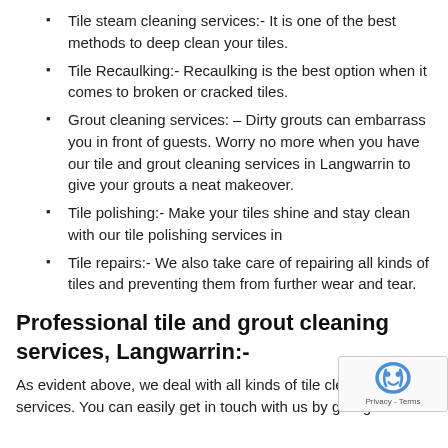Tile steam cleaning services:- It is one of the best methods to deep clean your tiles.
Tile Recaulking:- Recaulking is the best option when it comes to broken or cracked tiles.
Grout cleaning services: – Dirty grouts can embarrass you in front of guests. Worry no more when you have our tile and grout cleaning services in Langwarrin to give your grouts a neat makeover.
Tile polishing:- Make your tiles shine and stay clean with our tile polishing services in
Tile repairs:- We also take care of repairing all kinds of tiles and preventing them from further wear and tear.
Professional tile and grout cleaning services, Langwarrin:-
As evident above, we deal with all kinds of tile cleaning services. You can easily get in touch with us by giving us